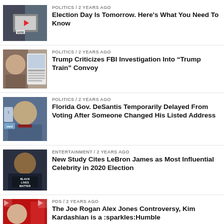[Figure (photo): Thumbnail image with vote sign and flag]
POLITICS / 2 years ago
Election Day Is Tomorrow. Here's What You Need To Know
[Figure (photo): Thumbnail image of Trump and tweet screenshot]
POLITICS / 2 years ago
Trump Criticizes FBI Investigation Into “Trump Train” Convoy
[Figure (photo): Thumbnail image of Florida Gov. DeSantis]
POLITICS / 2 years ago
Florida Gov. DeSantis Temporarily Delayed From Voting After Someone Changed His Listed Address
[Figure (photo): Thumbnail image of LeBron James in Black Lives Matter shirt]
ENTERTAINMENT / 2 years ago
New Study Cites LeBron James as Most Influential Celebrity in 2020 Election
[Figure (photo): Thumbnail image of people in front of red background]
PDS / 2 years ago
The Joe Rogan Alex Jones Controversy, Kim Kardashian is a :sparkles:Humble